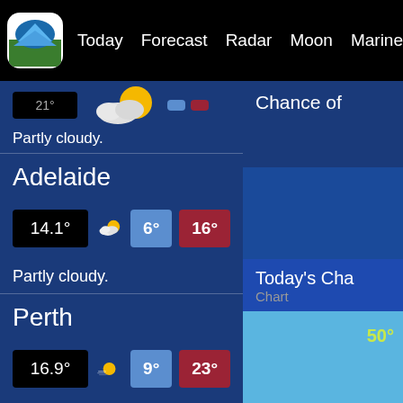Today | Forecast | Radar | Moon | Marine | Statistics
Partly cloudy.
Adelaide
14.1° | 6° | 16° | Partly cloudy.
Perth
16.9° | 9° | 23° | Sunny.
Hobart
10.6° | 9° | 13°
Chance of
Today's Cha
Chart
50°